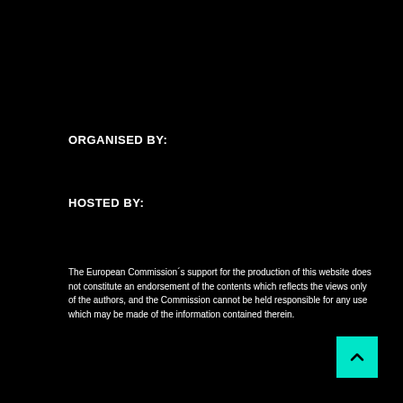ORGANISED BY:
HOSTED BY:
The European Commission´s support for the production of this website does not constitute an endorsement of the contents which reflects the views only of the authors, and the Commission cannot be held responsible for any use which may be made of the information contained therein.
[Figure (other): Cyan/turquoise scroll-to-top button with upward arrow chevron in bottom-right corner]